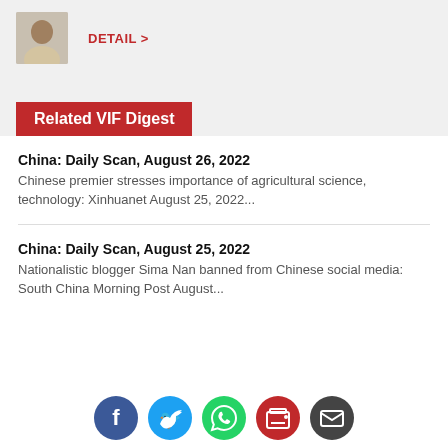[Figure (photo): Headshot of a man in a light-colored shirt]
DETAIL >
Related VIF Digest
China: Daily Scan, August 26, 2022
Chinese premier stresses importance of agricultural science, technology: Xinhuanet August 25, 2022...
China: Daily Scan, August 25, 2022
Nationalistic blogger Sima Nan banned from Chinese social media: South China Morning Post August...
[Figure (infographic): Social share icons: Facebook, Twitter, WhatsApp, Print, Email]